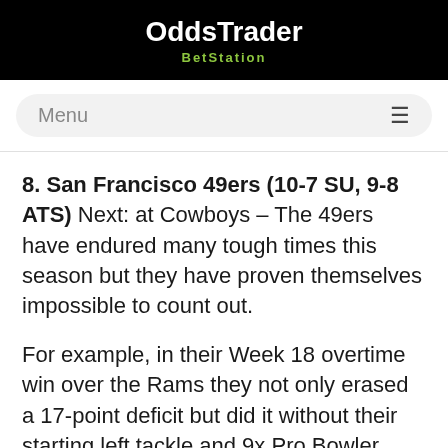OddsTrader BetStation
Menu
8. San Francisco 49ers (10-7 SU, 9-8 ATS) Next: at Cowboys – The 49ers have endured many tough times this season but they have proven themselves impossible to count out.
For example, in their Week 18 overtime win over the Rams they not only erased a 17-point deficit but did it without their starting left tackle and 9x Pro Bowler,